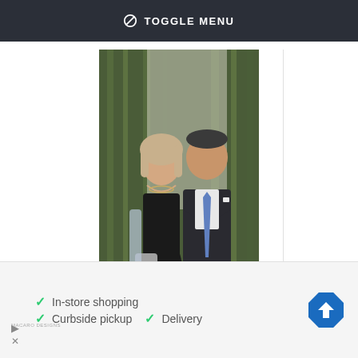⊘ TOGGLE MENU
[Figure (photo): A man and woman posing together at a formal event. The woman wears a black dress and holds a silver clutch; the man wears a dark suit with a blue tie. Green bamboo plants visible in background.]
Danny Meyer
Vote for Danny Meyer
✓ In-store shopping  ✓ Curbside pickup  ✓ Delivery